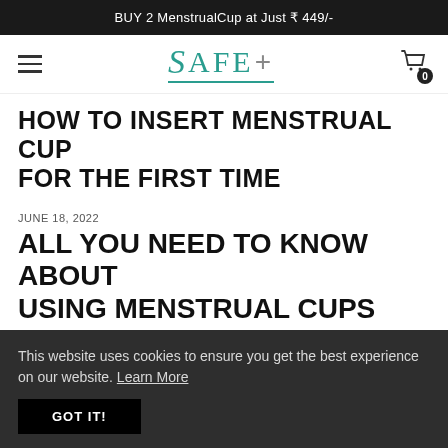BUY 2 MenstrualCup at Just ₹ 449/-
[Figure (logo): Safe+ brand logo with teal serif S and grey plus sign, underlined]
HOW TO INSERT MENSTRUAL CUP FOR THE FIRST TIME
JUNE 18, 2022
ALL YOU NEED TO KNOW ABOUT USING MENSTRUAL CUPS AND DISCS
This website uses cookies to ensure you get the best experience on our website. Learn More